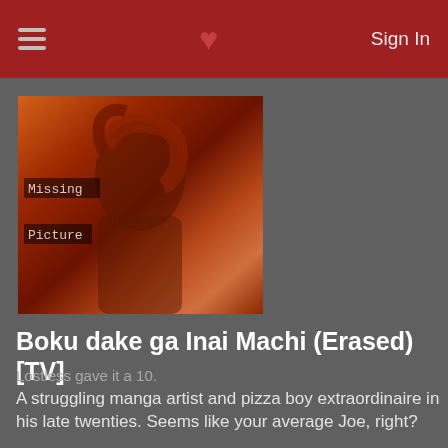Sign In
[Figure (illustration): Anime character image with 'Missing Picture' placeholder text overlay on orange/dark background]
Boku dake ga Inai Machi (Erased) [TV]
Lostless gave it a 10.
A struggling manga artist and pizza boy extraordinaire in his late twenties. Seems like your average Joe, right?
769 users added this.
[Figure (illustration): Second anime character image with 'Missing Picture' placeholder text overlay on orange/dark background]